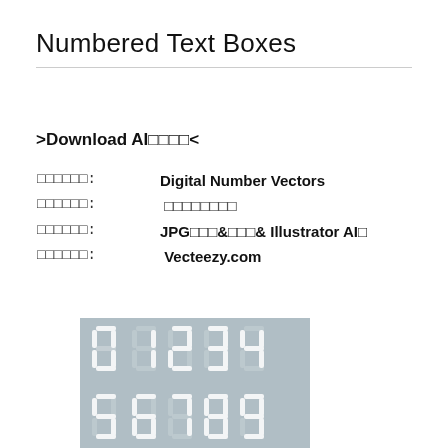Numbered Text Boxes
>Download AI□□□□<
□□□□□□: Digital Number Vectors
□□□□□□: □□□□□□□□
□□□□□□: JPG□□□&□□□& Illustrator AI□
□□□□□□: Vecteezy.com
[Figure (illustration): Digital number vectors image showing segment-style digits 0 1 2 3 4 on top row and 5 6 7 8 9 on bottom row on a blue-grey background]